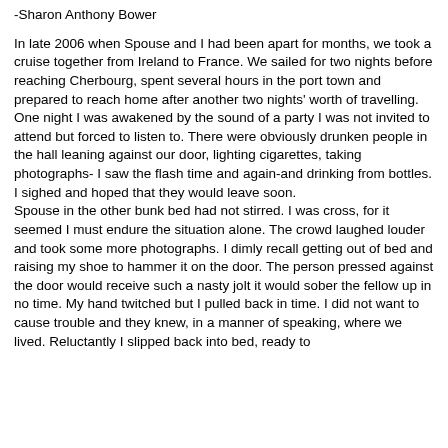-Sharon Anthony Bower
In late 2006 when Spouse and I had been apart for months, we took a cruise together from Ireland to France. We sailed for two nights before reaching Cherbourg, spent several hours in the port town and prepared to reach home after another two nights' worth of travelling. One night I was awakened by the sound of a party I was not invited to attend but forced to listen to. There were obviously drunken people in the hall leaning against our door, lighting cigarettes, taking photographs- I saw the flash time and again-and drinking from bottles. I sighed and hoped that they would leave soon. Spouse in the other bunk bed had not stirred. I was cross, for it seemed I must endure the situation alone. The crowd laughed louder and took some more photographs. I dimly recall getting out of bed and raising my shoe to hammer it on the door. The person pressed against the door would receive such a nasty jolt it would sober the fellow up in no time. My hand twitched but I pulled back in time. I did not want to cause trouble and they knew, in a manner of speaking, where we lived. Reluctantly I slipped back into bed, ready to